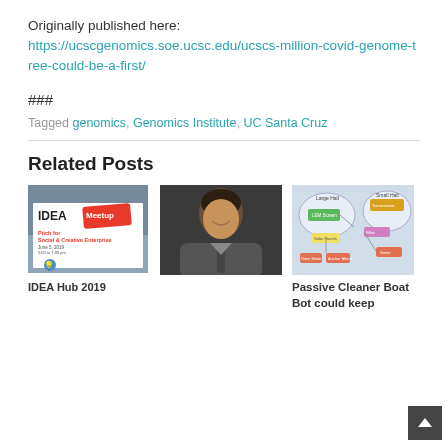Originally published here:
https://ucscgenomics.soe.ucsc.edu/ucscs-million-covid-genome-tree-could-be-a-first/
###
Tagged genomics, Genomics Institute, UC Santa Cruz
Related Posts
[Figure (photo): IDEA Hub 2019 event flyer with meetup branding and Pitch for Social & Creative Enterprise details]
[Figure (photo): Headshot of a smiling man in a suit with dark curly hair]
[Figure (schematic): Diagram showing Large Hall and Small Hall audio system components including amplifiers, routers, and other systems]
IDEA Hub 2019
Passive Cleaner Boat Bot could keep